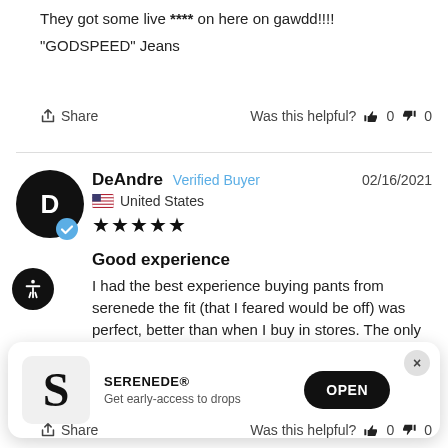They got some live **** on here on gawdd!!!!
"GODSPEED" Jeans
Share   Was this helpful?  0  0
DeAndre  Verified Buyer   02/16/2021
United States
★★★★★
Good experience
I had the best experience buying pants from serenede the fit (that I feared would be off) was perfect, better than when I buy in stores. The only problem is that I paid for express shipping and it came later than expected standard shipping. And I'm not sure how to
SERENEDE®
Get early-access to drops
OPEN
Share   Was this helpful?  0  0